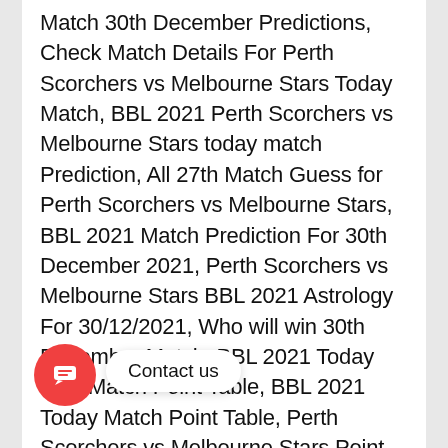Match 30th December Predictions, Check Match Details For Perth Scorchers vs Melbourne Stars Today Match, BBL 2021 Perth Scorchers vs Melbourne Stars today match Prediction, All 27th Match Guess for Perth Scorchers vs Melbourne Stars, BBL 2021 Match Prediction For 30th December 2021, Perth Scorchers vs Melbourne Stars BBL 2021 Astrology For 30/12/2021, Who will win 30th December Match, BBL 2021 Today 27th Match Point Table, BBL 2021 Today Match Point Table, Perth Scorchers vs Melbourne Stars Point Table, BBL 2021 27th Match Details, BBL 2021 Cricket 2021 Today Match Prediction, 27th Match Fixtures For Perth Scorchers vs Melbourne Stars M... rchers vs Melbourne Stars 27th Match Prediction 30th December, Who Will
[Figure (other): Red circular chat button with speech bubble icon, and a 'Contact us' tooltip bubble beside it]